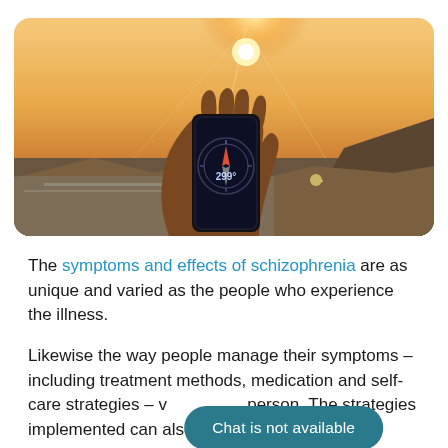[Figure (photo): A hand holding a smartphone showing a compass app reading 299 degrees, with a bright sunset and rocky coastline in the background.]
The symptoms and effects of schizophrenia are as unique and varied as the people who experience the illness.
Likewise the way people manage their symptoms – including treatment methods, medication and self-care strategies – [Chat is not available button overlapping] person. The strategies implemented can also